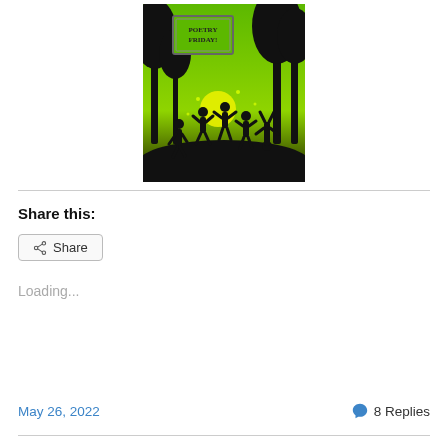[Figure (illustration): Poetry Friday illustration: green background with black silhouettes of children playing/jumping in a field with trees, yellow sun, and a framed sign reading 'POETRY FRIDAY' in the upper left area.]
Share this:
Share
Loading...
May 26, 2022
8 Replies